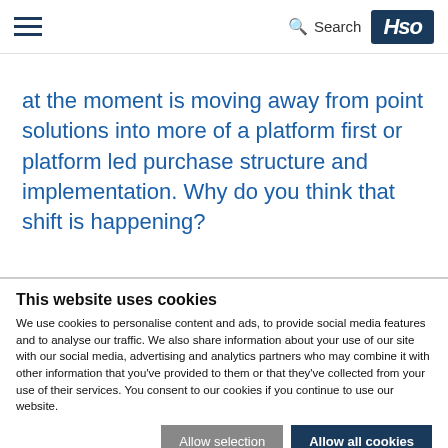Search | Hso
at the moment is moving away from point solutions into more of a platform first or platform led purchase structure and implementation. Why do you think that shift is happening?
This website uses cookies
We use cookies to personalise content and ads, to provide social media features and to analyse our traffic. We also share information about your use of our site with our social media, advertising and analytics partners who may combine it with other information that you've provided to them or that they've collected from your use of their services. You consent to our cookies if you continue to use our website.
Allow selection | Allow all cookies
Necessary | Preferences | Statistics | Marketing | Show details